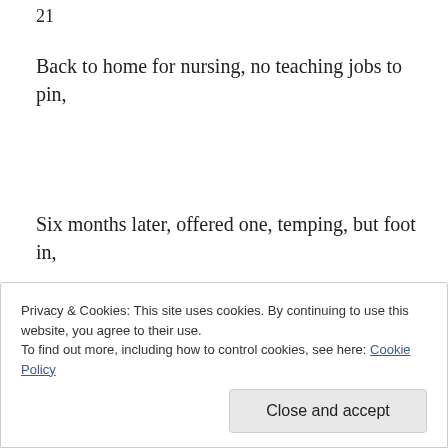21
Back to home for nursing, no teaching jobs to pin,
Six months later, offered one, temping, but foot in,
Still some serving of some food, bar work, hotel near,
Privacy & Cookies: This site uses cookies. By continuing to use this website, you agree to their use.
To find out more, including how to control cookies, see here: Cookie Policy
Close and accept